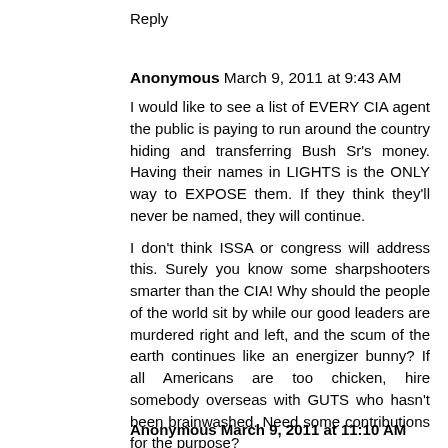Reply
Anonymous March 9, 2011 at 9:43 AM
I would like to see a list of EVERY CIA agent the public is paying to run around the country hiding and transferring Bush Sr's money. Having their names in LIGHTS is the ONLY way to EXPOSE them. If they think they'll never be named, they will continue.
I don't think ISSA or congress will address this. Surely you know some sharpshooters smarter than the CIA! Why should the people of the world sit by while our good leaders are murdered right and left, and the scum of the earth continues like an energizer bunny? If all Americans are too chicken, hire somebody overseas with GUTS who hasn't been brainwashed. Need some contributions for the purpose?
Reply
Anonymous March 9, 2011 at 11:10 AM